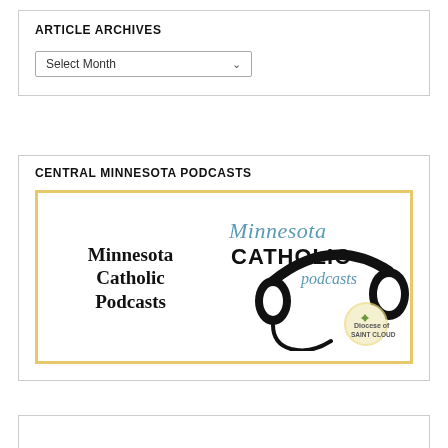ARTICLE ARCHIVES
[Figure (screenshot): Dropdown select box labeled 'Select Month' with a chevron arrow]
CENTRAL MINNESOTA PODCASTS
[Figure (logo): Minnesota Catholic Podcasts logo: left side shows 'Minnesota Catholic Podcasts' in bold serif font; right side shows 'Minnesota Catholic podcasts' text with headphones silhouette and Diocese of Saint Cloud badge, all on a white background with a tan/gold border.]